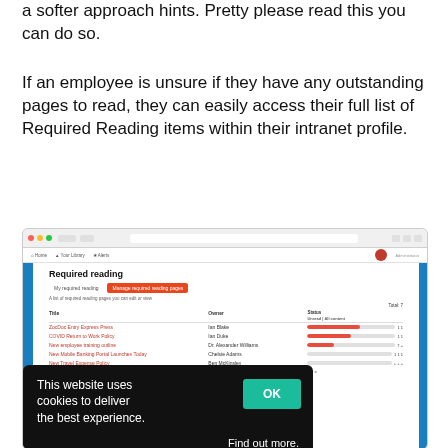a softer approach hints. Pretty please read this you can do so.
If an employee is unsure if they have any outstanding pages to read, they can easily access their full list of Required Reading items within their intranet profile.
[Figure (screenshot): Screenshot of an intranet 'Required reading' page showing a table with columns for Title, Owner, and Status, listing several policy documents with progress bar indicators. A cookie consent overlay is visible at the bottom showing 'This website uses cookies to deliver the best experience.' with an OK button and 'Find out more.' link.]